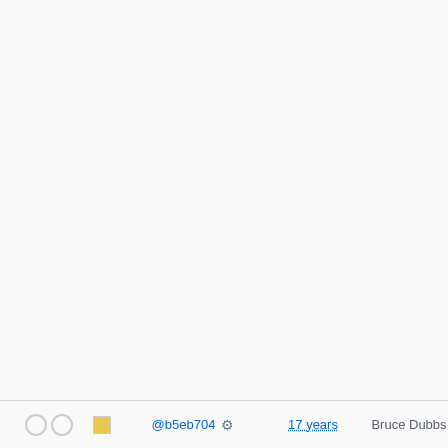|  |  |  | commit |  | age | author | tags/branches |
| --- | --- | --- | --- | --- | --- | --- | --- |
|  |  |  |  |  |  |  | elogind | gn... | kde5-13430 | 14269 | kde5-... | krejzi/svn | k... | nosym | per... | modules | qt5... | systemd-111... | systemd-134... | trunk | upgra... | xry111/intltoo... | xry111/test-2... |
| ○ ○ | □ | @b5eb704 ⚙ | 17 years | Bruce Dubbs | Added seam... 1.0 and dele... mozilla git-s... | ... | 10.0 | 10... | 11.0 | 11.1 | 6.2 | 6.2.0 | rc1 | 6.2.0-rc2... | 6.3-rc1 | 6.3... | 6.3-rc3 | 7.1... | 7.5 | 7.6 | 7... | 7.6-systemd | 7.8 | 7.9 | 8... | 8.1 | 8.2 | 8... | 8.4 | 9.0 | 9... | basic | bdub... | elogind | gn... | kde5-13430 | 14269 | kde5-... | krejzi/svn |